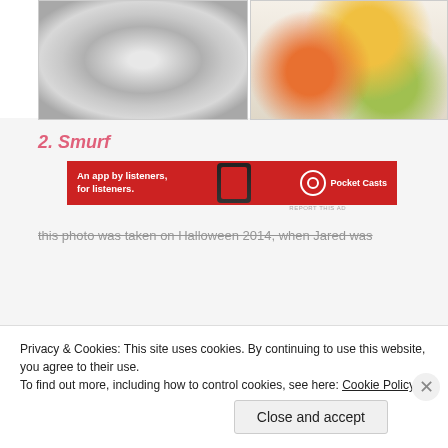[Figure (photo): Left photo: object wrapped in aluminum/tin foil on white surface. Right photo: a burrito or wrap with colorful toppings including peppers, potatoes, and meat.]
2. Smurf
[Figure (other): Advertisement banner for Pocket Casts app - red background with text 'An app by listeners, for listeners.' and Pocket Casts logo with phone graphic.]
REPORT THIS AD
this photo was taken on Halloween 2014, when Jared was
Privacy & Cookies: This site uses cookies. By continuing to use this website, you agree to their use.
To find out more, including how to control cookies, see here: Cookie Policy
Close and accept